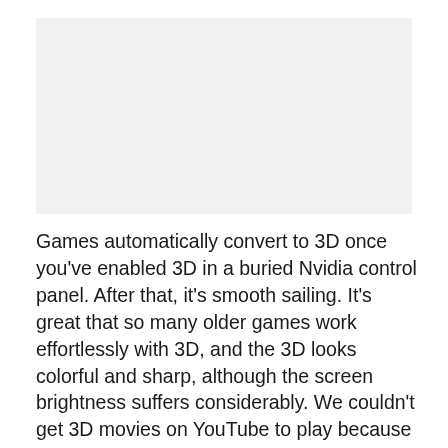[Figure (photo): Image placeholder area, light gray background]
Games automatically convert to 3D once you've enabled 3D in a buried Nvidia control panel. After that, it's smooth sailing. It's great that so many older games work effortlessly with 3D, and the 3D looks colorful and sharp, although the screen brightness suffers considerably. We couldn't get 3D movies on YouTube to play because the current drivers weren't available yet for our Satellite model. That being said, Nvidia 3D Vision with glasses are the next best content at 3D...